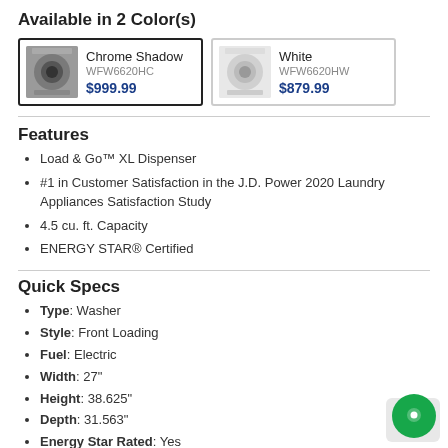Available in 2 Color(s)
[Figure (other): Two color swatches for washer: Chrome Shadow (WFW6620HC) $999.99 (selected, dark border) and White (WFW6620HW) $879.99]
Features
Load & Go™ XL Dispenser
#1 in Customer Satisfaction in the J.D. Power 2020 Laundry Appliances Satisfaction Study
4.5 cu. ft. Capacity
ENERGY STAR® Certified
Quick Specs
Type: Washer
Style: Front Loading
Fuel: Electric
Width: 27"
Height: 38.625"
Depth: 31.563"
Energy Star Rated: Yes
Laundry Capacity: 4.5 cu. ft.